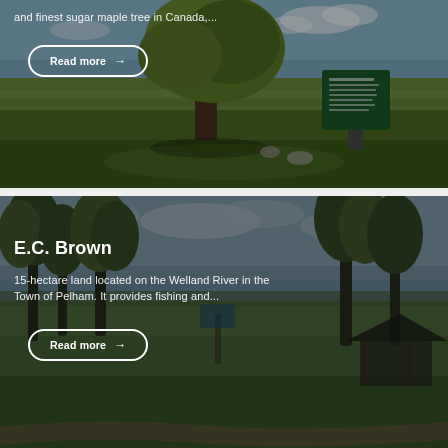[Figure (photo): Outdoor scene with a large sugar maple tree in a park or field setting in Canada, with a green informational sign visible on the right side. Blue sky with clouds in background.]
and finest sugar maple tree in Canada,...
Read more →
[Figure (photo): Park scene with trees along a river or waterway in the Town of Pelham. A gazebo or covered pavilion is visible in the background right. Overcast sky.]
E.C. Brown
15-hectare land located on the Welland River in the Town of Pelham. It provides fishing and...
Read more →